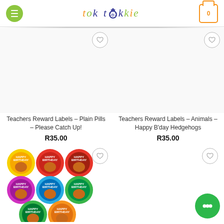tok tokkie - online store header with menu, logo, cart
[Figure (screenshot): Product listing: Teachers Reward Labels – Plain Pills – Please Catch Up! R35.00]
Teachers Reward Labels – Plain Pills – Please Catch Up!
R35.00
[Figure (screenshot): Product listing: Teachers Reward Labels – Animals – Happy B'day Hedgehogs R35.00]
Teachers Reward Labels – Animals – Happy B'day Hedgehogs
R35.00
[Figure (photo): Squirrel Happy Birthday reward label stickers arranged in a cluster, various colored circles]
[Figure (other): Empty product image placeholder with wishlist heart button]